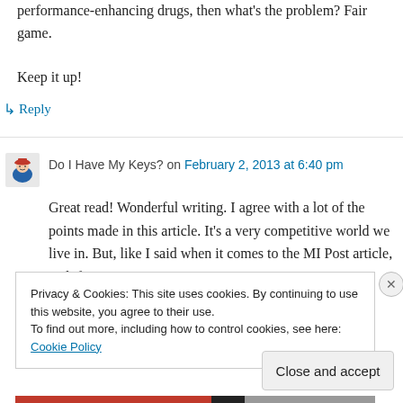performance-enhancing drugs, then what's the problem? Fair game.

Keep it up!
↳ Reply
Do I Have My Keys? on February 2, 2013 at 6:40 pm
Great read! Wonderful writing. I agree with a lot of the points made in this article. It's a very competitive world we live in. But, like I said when it comes to the MI Post article, and if
Privacy & Cookies: This site uses cookies. By continuing to use this website, you agree to their use.
To find out more, including how to control cookies, see here: Cookie Policy
Close and accept